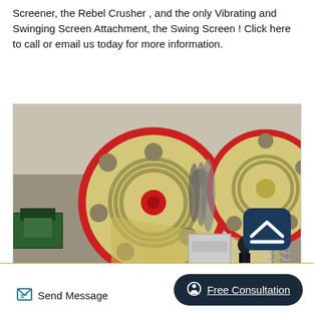Screener, the Rebel Crusher , and the only Vibrating and Swinging Screen Attachment, the Swing Screen ! Click here to call or email us today for more information.
[Figure (photo): Industrial jaw crusher machine with large yellow flywheels with red rims and circular holes, drive belts, mounted on frame in a workshop/industrial setting. A person stands in the background.]
Send Message
Free Consultation